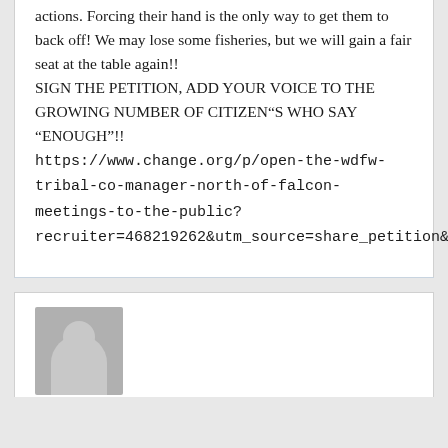actions. Forcing their hand is the only way to get them to back off! We may lose some fisheries, but we will gain a fair seat at the table again!! SIGN THE PETITION, ADD YOUR VOICE TO THE GROWING NUMBER OF CITIZEN“S WHO SAY “ENOUGH”!! https://www.change.org/p/open-the-wdfw-tribal-co-manager-north-of-falcon-meetings-to-the-public?recruiter=468219262&utm_source=share_petition&utm_medium=copylink
[Figure (illustration): Generic user avatar icon showing a silhouette of a person (head and shoulders) in gray on a gray background]